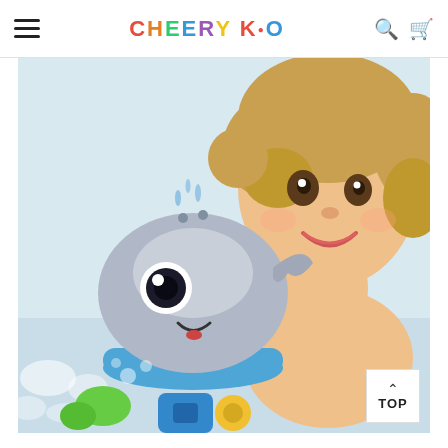Cheery Kid — navigation header with hamburger menu, logo, search and cart icons
[Figure (photo): A smiling toddler girl with curly blonde hair in a bath, looking at a cute grey whale-shaped water sprayer bath toy with a blue base. Other colorful bath toys are visible in the foreground. The scene is bright and playful with bubbles and water.]
TOP